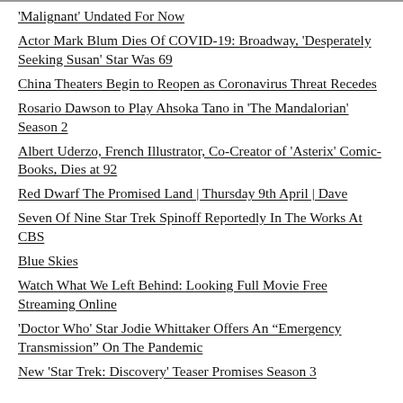'Malignant' Undated For Now
Actor Mark Blum Dies Of COVID-19: Broadway, 'Desperately Seeking Susan' Star Was 69
China Theaters Begin to Reopen as Coronavirus Threat Recedes
Rosario Dawson to Play Ahsoka Tano in 'The Mandalorian' Season 2
Albert Uderzo, French Illustrator, Co-Creator of 'Asterix' Comic-Books, Dies at 92
Red Dwarf The Promised Land | Thursday 9th April | Dave
Seven Of Nine Star Trek Spinoff Reportedly In The Works At CBS
Blue Skies
Watch What We Left Behind: Looking Full Movie Free Streaming Online
'Doctor Who' Star Jodie Whittaker Offers An “Emergency Transmission” On The Pandemic
New 'Star Trek: Discovery' Teaser Promises Season 3